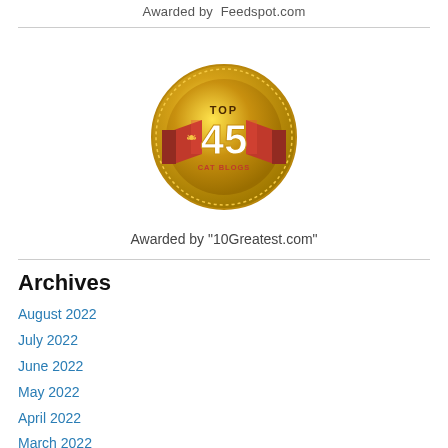Awarded by  Feedspot.com
[Figure (illustration): Gold medal badge with red ribbon reading TOP 45 CAT BLOGS]
Awarded by "10Greatest.com"
Archives
August 2022
July 2022
June 2022
May 2022
April 2022
March 2022
February 2022